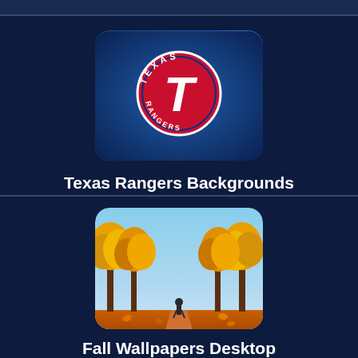[Figure (screenshot): App listing page showing wallpaper categories on a dark navy background]
[Figure (illustration): Texas Rangers baseball team logo thumbnail - dark blue background with T logo]
Texas Rangers Backgrounds
57 Wallpapers
[Figure (illustration): Minnie Mouse wallpaper thumbnail - pink background with Minnie Mouse character]
Minnie Mouse Wallpapers
74 Wallpapers
[Figure (illustration): Fall autumn landscape thumbnail - yellow/orange trees lining a path]
Fall Wallpapers Desktop